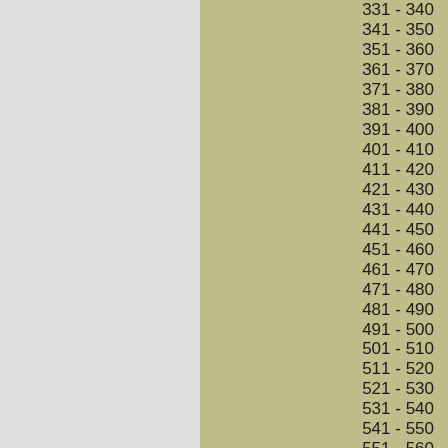331 - 340
341 - 350
351 - 360
361 - 370
371 - 380
381 - 390
391 - 400
401 - 410
411 - 420
421 - 430
431 - 440
441 - 450
451 - 460
461 - 470
471 - 480
481 - 490
491 - 500
501 - 510
511 - 520
521 - 530
531 - 540
541 - 550
551 - 560
561 - 570
571 - 580